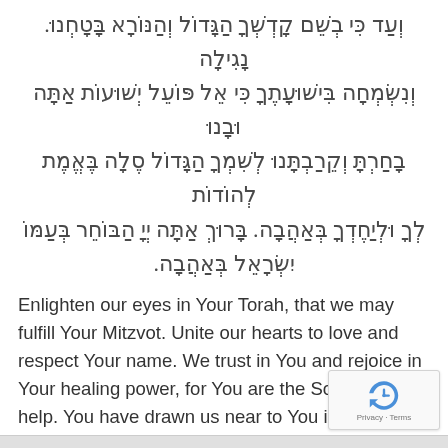וְעַד כִּי בְשֵׁם קָדְשְׁךָ הַגָּדוֹל וְהַנּוֹרָא בָּטָחְנוּ. נָגִילָה וְנִשְׂמְחָה בִּישׁוּעָתֶךָ כִּי אֵל פּוֹעֵל יְשׁוּעוֹת אַתָּה וּבָנוּ בָחַרְתָּ וְקֵרַבְתָּנוּ לְשִׁמְךָ הַגָּדוֹל סֶלָה בֶּאֱמֶת לְהוֹדוֹת לְךָ וּלְיַחֶדְךָ בְּאַהֲבָה. בָּרוּךְ אַתָּה יְיָ הַבּוֹחֵר בְּעַמּוֹ יִשְׂרָאֵל בְּאַהֲבָה.
Enlighten our eyes in Your Torah, that we may fulfill Your Mitzvot. Unite our hearts to love and respect Your name. We trust in You and rejoice in Your healing power, for You are the Source of our help. You have drawn us near to You in faithfulness. We lift up our voices and proclaim Your oneness, O God. In love, You have called us to You.
Listen